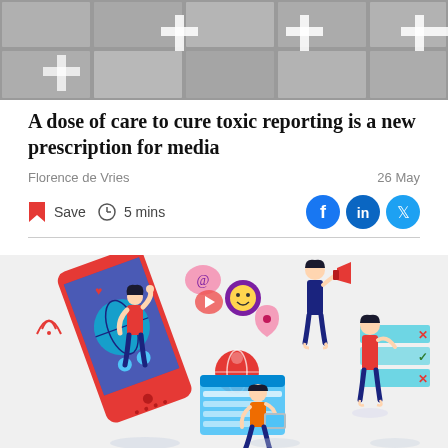[Figure (photo): Top portion of a photo showing a gray stone or concrete surface with white cross/plus shapes embedded in it.]
A dose of care to cure toxic reporting is a new prescription for media
Florence de Vries
26 May
Save  5 mins
[Figure (illustration): Colorful vector illustration showing people interacting with social media and digital technology. A woman stands on a large red smartphone with social media icons floating around her. Other figures include a man with a megaphone, a person working on a tablet/laptop with a globe, and a man interacting with a checklist panel.]